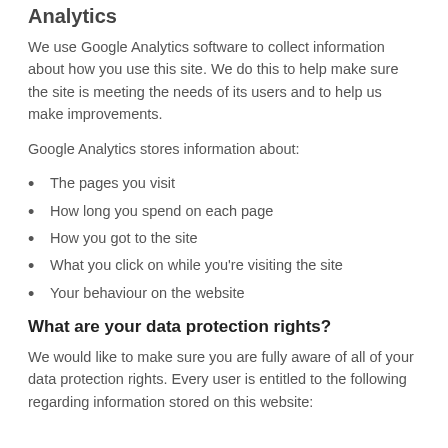Analytics
We use Google Analytics software to collect information about how you use this site. We do this to help make sure the site is meeting the needs of its users and to help us make improvements.
Google Analytics stores information about:
The pages you visit
How long you spend on each page
How you got to the site
What you click on while you're visiting the site
Your behaviour on the website
What are your data protection rights?
We would like to make sure you are fully aware of all of your data protection rights. Every user is entitled to the following regarding information stored on this website: